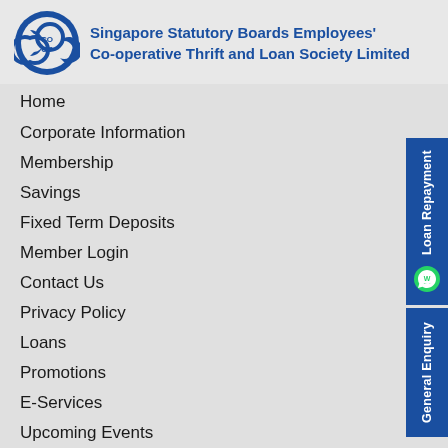[Figure (logo): Co-op logo with interlocking C and O shapes in blue]
Singapore Statutory Boards Employees' Co-operative Thrift and Loan Society Limited
Home
Corporate Information
Membership
Savings
Fixed Term Deposits
Member Login
Contact Us
Privacy Policy
Loans
Promotions
E-Services
Upcoming Events
Co-op News
[Figure (illustration): Loan Repayment sidebar button with WhatsApp icon]
[Figure (illustration): General Enquiry sidebar button]